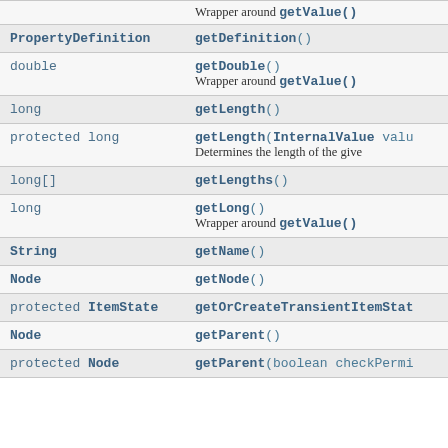| Type | Method |
| --- | --- |
|  | Wrapper around getValue() |
| PropertyDefinition | getDefinition() |
| double | getDouble()
Wrapper around getValue() |
| long | getLength() |
| protected long | getLength(InternalValue valu...
Determines the length of the give... |
| long[] | getLengths() |
| long | getLong()
Wrapper around getValue() |
| String | getName() |
| Node | getNode() |
| protected ItemState | getOrCreateTransientItemStat... |
| Node | getParent() |
| protected Node | getParent(boolean checkPermi... |